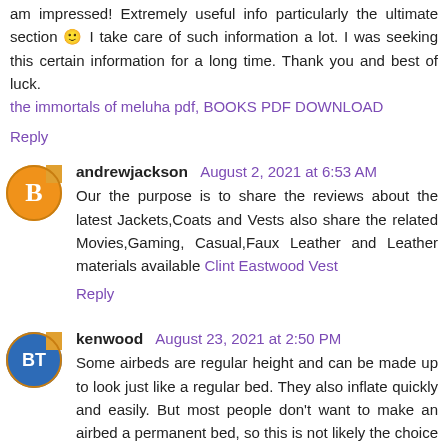am impressed! Extremely useful info particularly the ultimate section 🙂 I take care of such information a lot. I was seeking this certain information for a long time. Thank you and best of luck.
the immortals of meluha pdf, BOOKS PDF DOWNLOAD
Reply
andrewjackson August 2, 2021 at 6:53 AM
Our the purpose is to share the reviews about the latest Jackets,Coats and Vests also share the related Movies,Gaming, Casual,Faux Leather and Leather materials available Clint Eastwood Vest
Reply
kenwood August 23, 2021 at 2:50 PM
Some airbeds are regular height and can be made up to look just like a regular bed. They also inflate quickly and easily. But most people don't want to make an airbed a permanent bed, so this is not likely the choice you'll make if